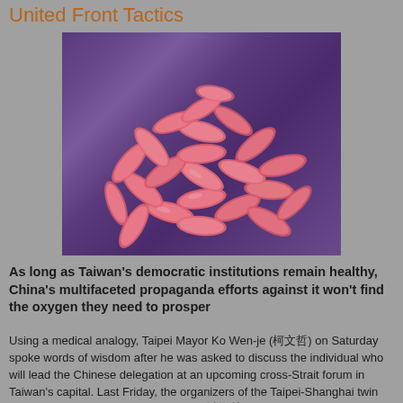United Front Tactics
[Figure (photo): Microscope image of pink rod-shaped bacteria (E. coli or similar) on a purple background, colored scanning electron microscope image]
As long as Taiwan's democratic institutions remain healthy, China's multifaceted propaganda efforts against it won't find the oxygen they need to prosper
Using a medical analogy, Taipei Mayor Ko Wen-je (柯文哲) on Saturday spoke words of wisdom after he was asked to discuss the individual who will lead the Chinese delegation at an upcoming cross-Strait forum in Taiwan's capital. Last Friday, the organizers of the Taipei-Shanghai twin city forum announced that Sha Hailin (沙海林), the head of the United Front Work Department of the Chinese Communist Party's (CCP) Shanghai Municipal Committee, will lead the delegation at